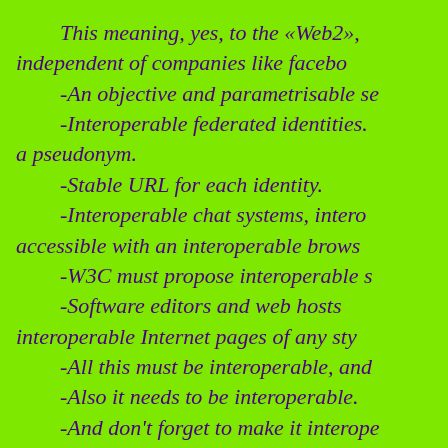This meaning, yes, to the «Web2», independent of companies like facebo... -An objective and parametrisable se... -Interoperable federated identities. a pseudonym. -Stable URL for each identity. -Interoperable chat systems, intero... accessible with an interoperable brows... -W3C must propose interoperable s... -Software editors and web hosts... interoperable Internet pages of any sty... -All this must be interoperable, and -Also it needs to be interoperable. -And don't forget to make it interope... This would turn the whole Internet...